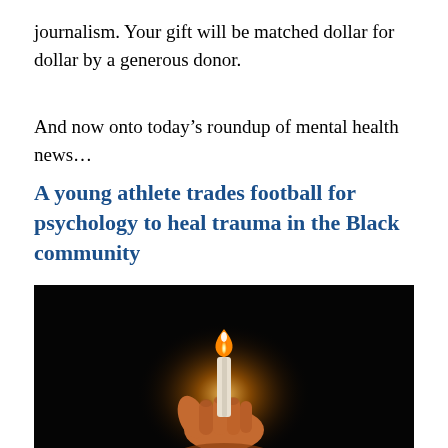journalism. Your gift will be matched dollar for dollar by a generous donor.
And now onto today's roundup of mental health news…
A young athlete trades football for psychology to heal trauma in the Black community
[Figure (photo): A hand holding a lit candle against a dark background]